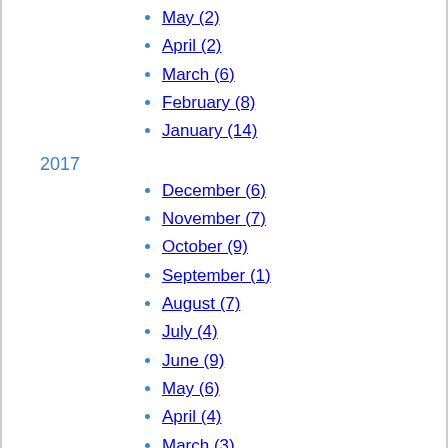May (2)
April (2)
March (6)
February (8)
January (14)
2017
December (6)
November (7)
October (9)
September (1)
August (7)
July (4)
June (9)
May (6)
April (4)
March (3)
February (4)
January (2)
2016
December (1)
November (5)
October (7)